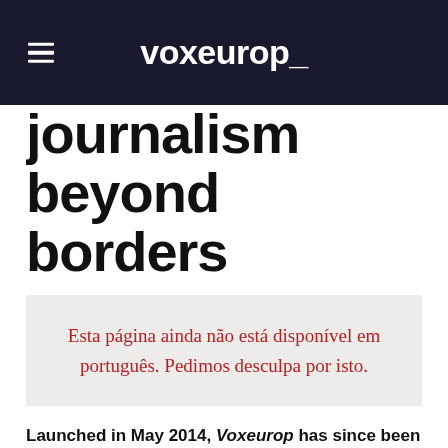voxeurop_
journalism beyond borders
Esta página ainda não está disponível em português. Pedimos desculpa por isto.
Launched in May 2014, Voxeurop has since been operated by a truly European team.